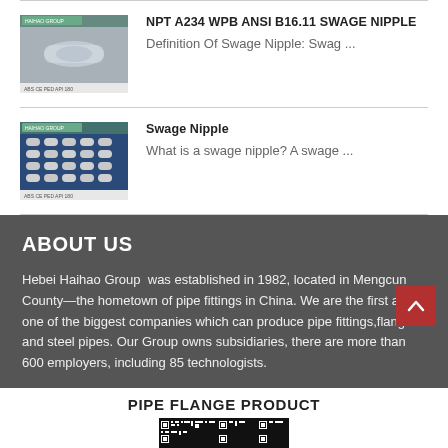[Figure (photo): Photo of a swage nipple pipe fitting, metallic surface, with certification logos at bottom]
NPT A234 WPB ANSI B16.11 SWAGE NIPPLE
Definition Of Swage Nipple: Swag ...
[Figure (photo): Photo showing multiple swage nipples arranged in rows on a blue background, with certification logos at bottom]
Swage Nipple
What is a swage nipple? A swage ...
ABOUT US
Hebei Haihao Group  was established in 1982, located in Mengcun County—the hometown of pipe fittings in China. We are the first and one of the biggest companies which can produce pipe fittings,flanges and steel pipes. Our Group owns subsidiaries, there are more than 600 employers, including 85 technologists.
PIPE FLANGE PRODUCT
[Figure (photo): QR code or product image strip at bottom]